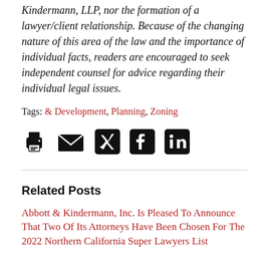Kindermann, LLP, nor the formation of a lawyer/client relationship. Because of the changing nature of this area of the law and the importance of individual facts, readers are encouraged to seek independent counsel for advice regarding their individual legal issues.
Tags: & Development, Planning, Zoning
[Figure (other): Social sharing icons: print, email, Twitter, Facebook, LinkedIn]
Related Posts
Abbott & Kindermann, Inc. Is Pleased To Announce That Two Of Its Attorneys Have Been Chosen For The 2022 Northern California Super Lawyers List